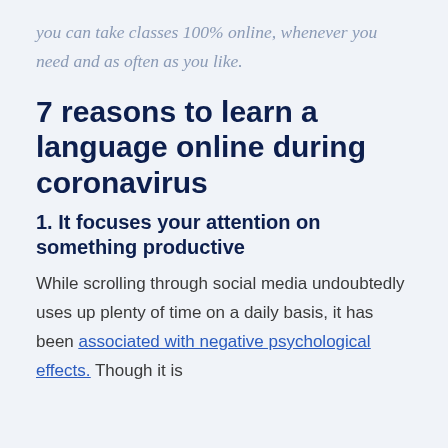you can take classes 100% online, whenever you need and as often as you like.
7 reasons to learn a language online during coronavirus
1. It focuses your attention on something productive
While scrolling through social media undoubtedly uses up plenty of time on a daily basis, it has been associated with negative psychological effects. Though it is